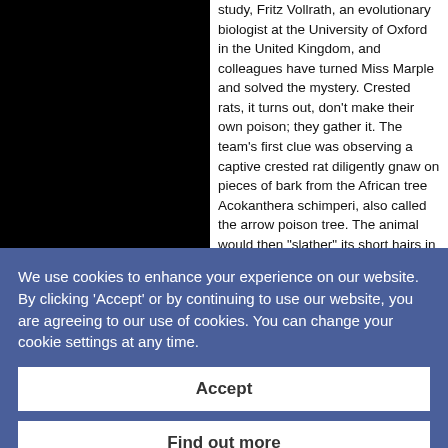[Figure (photo): Black rectangular image area on the left side of the page (partially visible/cut off)]
study, Fritz Vollrath, an evolutionary biologist at the University of Oxford in the United Kingdom, and colleagues have turned Miss Marple and solved the mystery. Crested rats, it turns out, don't make their own poison; they gather it. The team's first clue was observing a captive crested rat diligently gnaw on pieces of bark from the African tree Acokanthera schimperi, also called the arrow poison tree. The animal would then "slather" its short hairs in fibrous spit. That bark carries large amounts of
We use cookies to enhance your experience on our website. By clicking 'Accept' or by continuing to use our website, you are agreeing to our use of cookies. You can change your cookie settings at any time.
Accept
Find out more